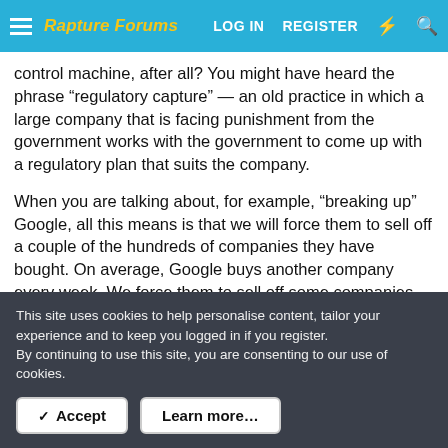Rapture Forums | LOG IN | REGISTER
control machine, after all? You might have heard the phrase “regulatory capture” — an old practice in which a large company that is facing punishment from the government works with the government to come up with a regulatory plan that suits the company.
When you are talking about, for example, “breaking up” Google, all this means is that we will force them to sell off a couple of the hundreds of companies they have bought. On average, Google buys another company every week. We force them to sell off some companies, the major shareholders are enriched by billions of dollars, and the company still has the same power
This site uses cookies to help personalise content, tailor your experience and to keep you logged in if you register.
By continuing to use this site, you are consenting to our use of cookies.